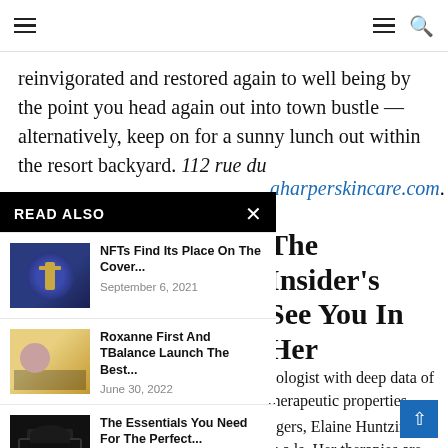Navigation bar with hamburger menu and search icon
reinvigorated and restored again to well being by the point you head again out into town bustle — alternatively, keep on for a sunny lunch out within the resort backyard. 112 rue du Faubourg Saint-Honoré, saraharperskincare.com.
READ ALSO
[Figure (photo): Thumbnail image 1 - blue circular artwork]
NFTs Find Its Place On The Cover...
September 6, 2021
[Figure (photo): Thumbnail image 2 - woman with jewelry]
Roxanne First And TBalance Launch The Best...
June 30, 2022
[Figure (photo): Thumbnail image 3 - black swimwear]
The Essentials You Need For The Perfect...
February 23, 2022
The Insider's See You In Her
nologist with deep data of therapeutic properties.
ngers, Elaine Huntzinger is a ls. Her therapies are so